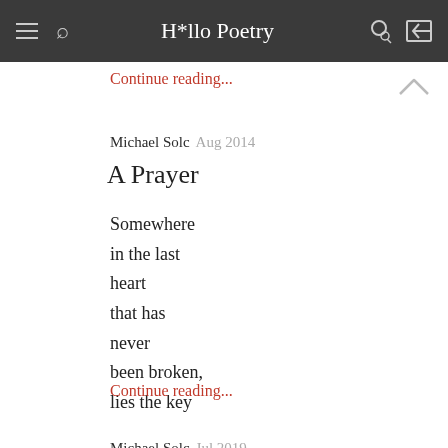H*llo Poetry
Continue reading...
Michael Solc  Aug 2014
A Prayer
Somewhere
in the last
heart
that has
never
been broken,
lies the key
Continue reading...
Michael Solc  Jul 2019